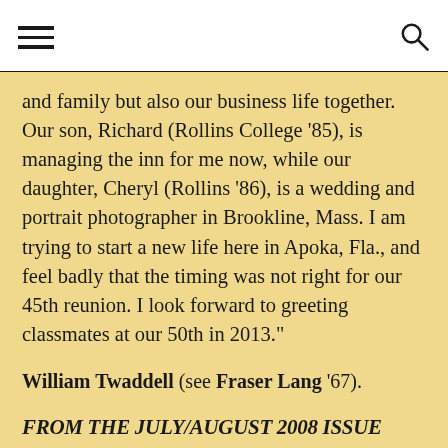[hamburger menu] [search icon]
and family but also our business life together. Our son, Richard (Rollins College '85), is managing the inn for me now, while our daughter, Cheryl (Rollins '86), is a wedding and portrait photographer in Brookline, Mass. I am trying to start a new life here in Apoka, Fla., and feel badly that the timing was not right for our 45th reunion. I look forward to greeting classmates at our 50th in 2013."
William Twaddell (see Fraser Lang '67).
FROM THE JULY/AUGUST 2008 ISSUE
Larry Axelrod writes: "I retired in 2007 as architectural designer with ZAK Architecture in San Francisco (zakarchitecture.com) after 35 years with various Bay Area, Calif., firms. I married my soulmate, Leslie Joan